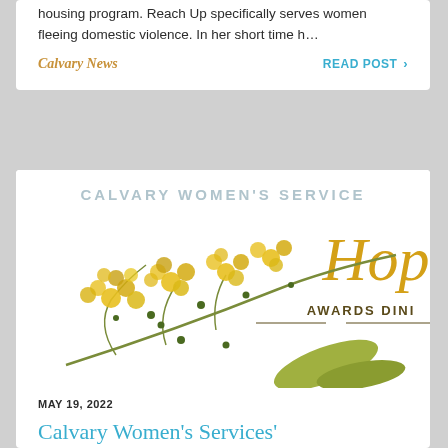housing program. Reach Up specifically serves women fleeing domestic violence. In her short time h...
Calvary News
READ POST >
[Figure (illustration): Calvary Women's Service Hope Awards Dinner banner with yellow mimosa flowers illustration and stylized script text reading 'Hop' (partially visible) and 'AWARDS DINI' (partially visible)]
MAY 19, 2022
Calvary Women's Services' 2022 Ho... Awar...